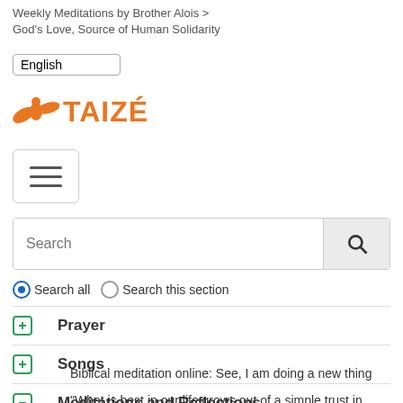Weekly Meditations by Brother Alois > God's Love, Source of Human Solidarity
English (language selector)
[Figure (logo): Taizé logo: orange cross/bird icon and orange bold text TAIZÉ]
[Figure (infographic): Hamburger menu button with three horizontal lines]
Search (search input field with magnifying glass button)
Search all  Search this section
Prayer
Songs
Meditations and Reflections
Biblical meditation online: See, I am doing a new thing
"What is best in our life grows out of a simple trust in God."